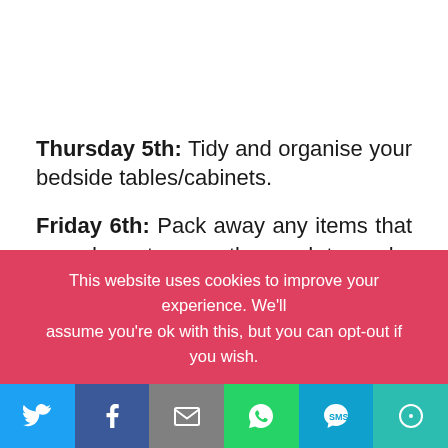Thursday 5th: Tidy and organise your bedside tables/cabinets.
Friday 6th: Pack away any items that you do not currently need to make room for festive decor.
This website uses cookies to improve your experience. We'll assume you're ok with this, but you can opt-out if you wish.